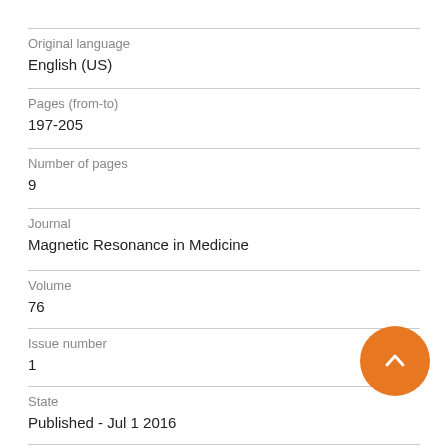Original language
English (US)
Pages (from-to)
197-205
Number of pages
9
Journal
Magnetic Resonance in Medicine
Volume
76
Issue number
1
State
Published - Jul 1 2016
Externally published